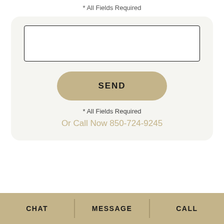* All Fields Required
[Figure (screenshot): A form card with a text input box, a SEND button, required fields note, and call now information]
* All Fields Required
Or Call Now 850-724-9245
CHAT | MESSAGE | CALL